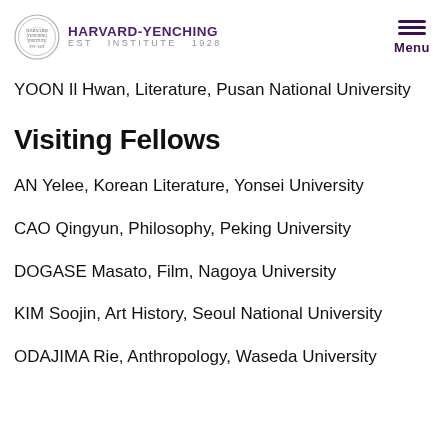HARVARD-YENCHING INSTITUTE
YOON Il Hwan, Literature, Pusan National University
Visiting Fellows
AN Yelee, Korean Literature, Yonsei University
CAO Qingyun, Philosophy, Peking University
DOGASE Masato, Film, Nagoya University
KIM Soojin, Art History, Seoul National University
ODAJIMA Rie, Anthropology, Waseda University